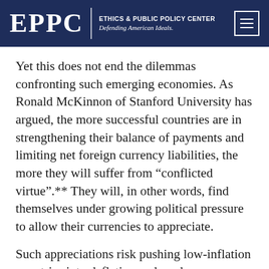EPPC | ETHICS & PUBLIC POLICY CENTER Defending American Ideals.
Yet this does not end the dilemmas confronting such emerging economies. As Ronald McKinnon of Stanford University has argued, the more successful countries are in strengthening their balance of payments and limiting net foreign currency liabilities, the more they will suffer from “conflicted virtue".** They will, in other words, find themselves under growing political pressure to allow their currencies to appreciate.
Such appreciations risk pushing low-inflation countries into deflation and, perhaps, even into a liquidity trap of the kind suffered by Japan in